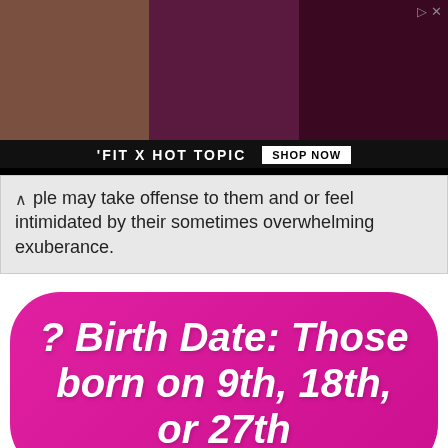[Figure (photo): Advertisement banner for 'FIT X HOT TOPIC' with three photos of people in dark clothing, with a 'SHOP NOW' button and close/expand controls]
ple may take offense to them and or feel intimidated by their sometimes overwhelming exuberance.
? Birth Date: Those born on 9th, 18th, or 27th
Privacy & Cookies: This site uses cookies. By continuing to use this website, you agree to their use.
To find out more, including how to control cookies, see here: Cookie Policy
Close and accept
satisfaction to be able to contribute largely to the world, where they are generous, kind-hearted, compassionate, and selfless. Because they push